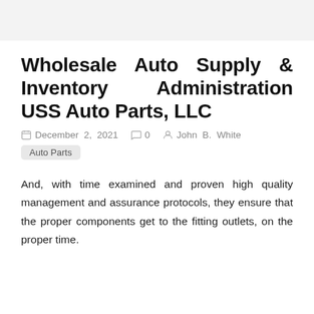Wholesale Auto Supply & Inventory Administration USS Auto Parts, LLC
December 2, 2021  0  John B. White  Auto Parts
And, with time examined and proven high quality management and assurance protocols, they ensure that the proper components get to the fitting outlets, on the proper time.